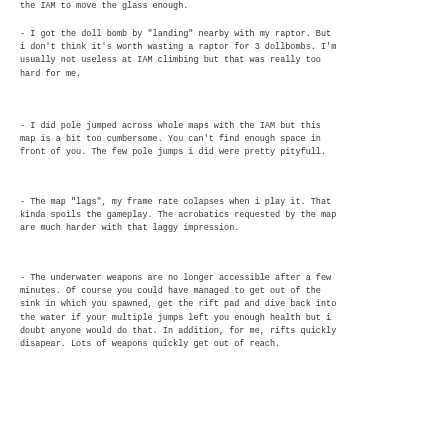the IAM to move the glass enough.
- I got the doll bomb by "landing" nearby with my raptor. But i don't think it's worth wasting a raptor for 3 dollbombs. I'm usually not useless at IAM climbing but that was really too hard for me.
- I did pole jumped across whole maps with the IAM but this map is a bit too cumbersome. You can't find enough space in front of you. The few pole jumps i did were pretty pityfull.
- The map "lags", my frame rate colapses when i play it. That kinda spoils the gameplay. The acrobatics requested by the map are much harder with that laggy impression.
- The underwater weapons are no longer accessible after a few minutes. Of course you could have managed to get out of the sink in which you spawned, get the rift pad and dive back into the water if your multiple jumps left you enough health but i doubt anyone would do that. In addition, for me, rifts quickly disapear. Lots of weapons quickly get out of reach.